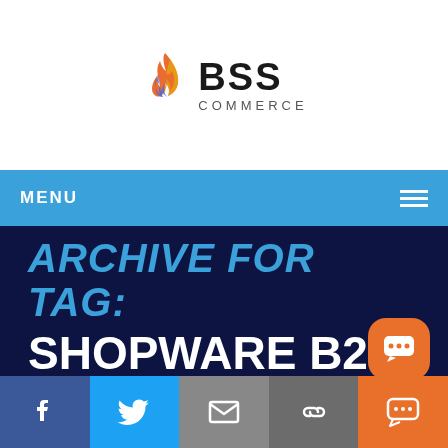[Figure (logo): BSS Commerce logo with flame icon and text BSS COMMERCE]
MENU
ARCHIVE FOR TAG: SHOPWARE B2B
[Figure (infographic): Social media bar with Facebook, Twitter, Email, Link, and chat button icons]